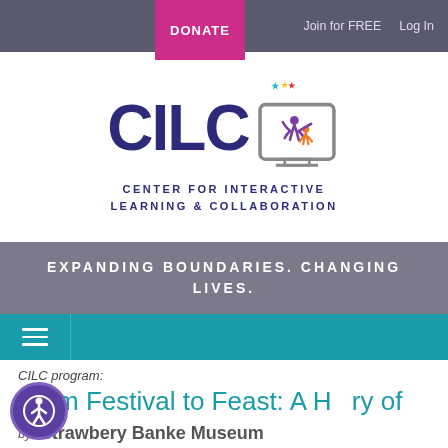DONATE   Join for FREE   Log In
[Figure (logo): CILC logo with colorful figures and stars, text: CENTER FOR INTERACTIVE LEARNING & COLLABORATION]
EXPANDING BOUNDARIES. CHANGING LIVES.
[Figure (other): Hamburger menu icon on teal navigation bar]
CILC program:
From Festival to Feast: A History of Thanksgiving
by Strawbery Banke Museum